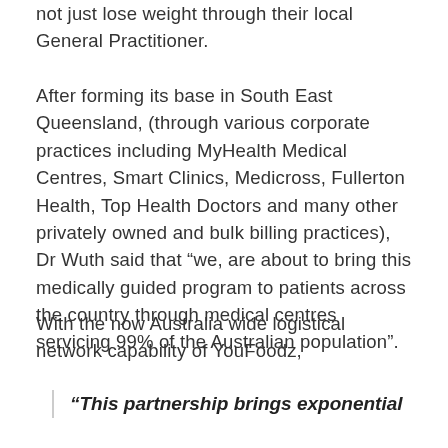not just lose weight through their local General Practitioner.
After forming its base in South East Queensland, (through various corporate practices including MyHealth Medical Centres, Smart Clinics, Medicross, Fullerton Health, Top Health Doctors and many other privately owned and bulk billing practices), Dr Wuth said that “we, are about to bring this medically guided program to patients across the country through medical centres servicing 99% of the Australian population”.
With the now Australia wide logistical network capability of YouFoodz,
“This partnership brings exponential